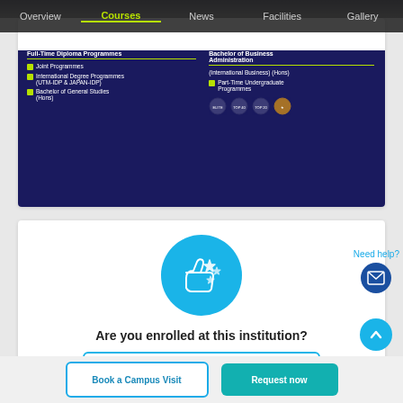Overview | Courses | News | Facilities | Gallery
[Figure (screenshot): University courses banner showing Full-Time Diploma Programmes, Joint Programmes, International Degree Programmes (UTM-IDP & JAPAN-IDP), Bachelor of General Studies (Hons), Bachelor of Business Administration (International Business) (Hons), Part-Time Undergraduate Programmes with ranking badges]
[Figure (illustration): Blue circle with thumbs up and stars icon]
Are you enrolled at this institution?
Leave A Review
Need help?
Book a Campus Visit
Request now